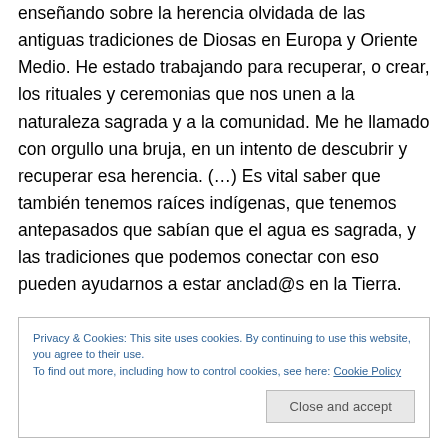enseñando sobre la herencia olvidada de las antiguas tradiciones de Diosas en Europa y Oriente Medio. He estado trabajando para recuperar, o crear, los rituales y ceremonias que nos unen a la naturaleza sagrada y a la comunidad. Me he llamado con orgullo una bruja, en un intento de descubrir y recuperar esa herencia. (…) Es vital saber que también tenemos raíces indígenas, que tenemos antepasados que sabían que el agua es sagrada, y las tradiciones que podemos conectar con eso pueden ayudarnos a estar anclad@s en la Tierra.
Privacy & Cookies: This site uses cookies. By continuing to use this website, you agree to their use.
To find out more, including how to control cookies, see here: Cookie Policy